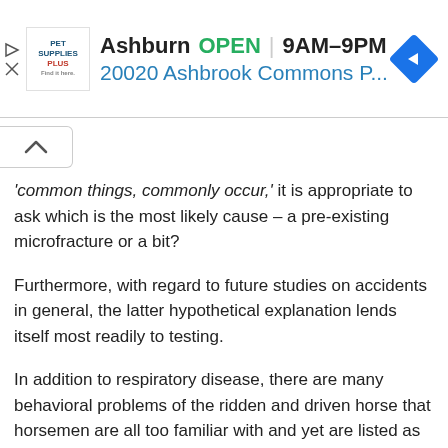[Figure (other): Advertisement banner for Pet Supplies Plus store in Ashburn showing OPEN 9AM-9PM and address 20020 Ashbrook Commons P...]
'common things, commonly occur,' it is appropriate to ask which is the most likely cause – a pre-existing microfracture or a bit?
Furthermore, with regard to future studies on accidents in general, the latter hypothetical explanation lends itself most readily to testing.
In addition to respiratory disease, there are many behavioral problems of the ridden and driven horse that horsemen are all too familiar with and yet are listed as of unknown or uncertain cause and for which effective treatment is elusive, e.g., headshaking.